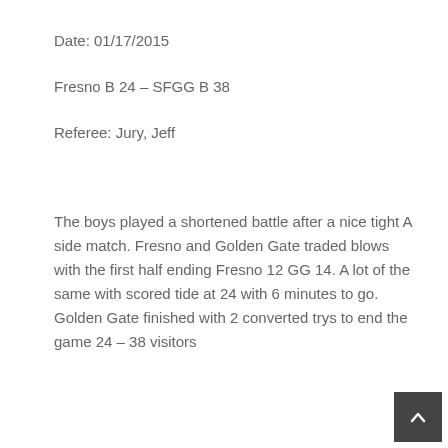Date: 01/17/2015
Fresno B 24 – SFGG B 38
Referee: Jury, Jeff
The boys played a shortened battle after a nice tight A side match. Fresno and Golden Gate traded blows with the first half ending Fresno 12 GG 14. A lot of the same with scored tide at 24 with 6 minutes to go. Golden Gate finished with 2 converted trys to end the game 24 – 38 visitors